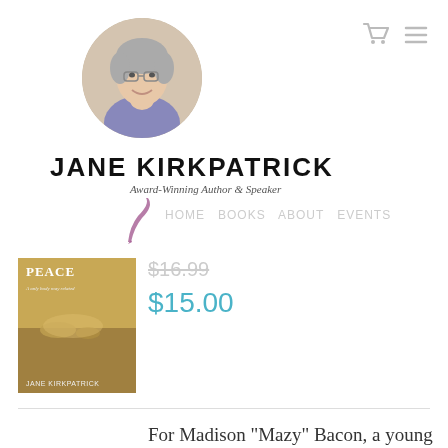[Figure (photo): Circular profile photo of Jane Kirkpatrick, an older woman with short gray hair, smiling, wearing a purple top]
[Figure (other): Shopping cart and hamburger menu icons in gray at top right]
JANE KIRKPATRICK
Award-Winning Author & Speaker
[Figure (illustration): Purple/mauve quill pen icon]
[Figure (photo): Book cover of a Jane Kirkpatrick novel showing people on a dusty trail, with text 'PEACE' and 'A only body may related' and 'JANE KIRKPATRICK']
$15.00
For Madison "Mazy" Bacon, a young wife living in southern Wisconsin, the future appears every bit as promising as it is reassuringly predictable. A loving